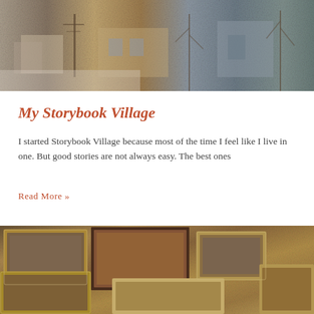[Figure (photo): A painted or textured panoramic image showing a wintry village scene with buildings, bare trees, and utility poles in muted browns, grays, and blues.]
My Storybook Village
I started Storybook Village because most of the time I feel like I live in one. But good stories are not always easy. The best ones
Read More »
[Figure (photo): A photograph of multiple framed paintings or artworks stacked and arranged closely together, showing gold and dark ornate frames with landscape and figurative scenes.]